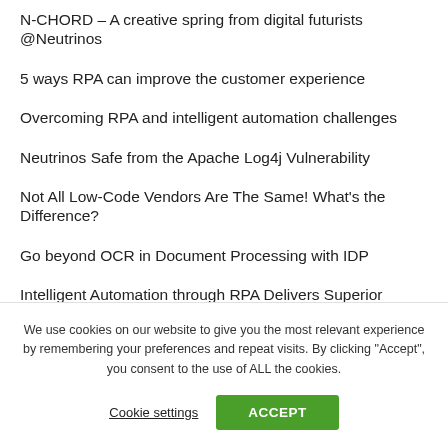N-CHORD – A creative spring from digital futurists @Neutrinos
5 ways RPA can improve the customer experience
Overcoming RPA and intelligent automation challenges
Neutrinos Safe from the Apache Log4j Vulnerability
Not All Low-Code Vendors Are The Same! What's the Difference?
Go beyond OCR in Document Processing with IDP
Intelligent Automation through RPA Delivers Superior Customer Experiences
We use cookies on our website to give you the most relevant experience by remembering your preferences and repeat visits. By clicking “Accept”, you consent to the use of ALL the cookies.
Cookie settings   ACCEPT